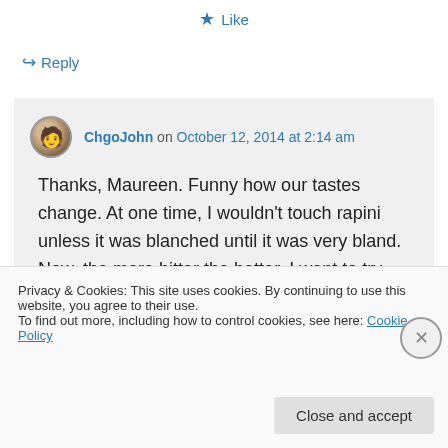★ Like
↪ Reply
ChgoJohn on October 12, 2014 at 2:14 am
Thanks, Maureen. Funny how our tastes change. At one time, I wouldn't touch rapini unless it was blanched until it was very bland. Now, the more bitter the better. I want to try making ravioli again with rapini
Privacy & Cookies: This site uses cookies. By continuing to use this website, you agree to their use.
To find out more, including how to control cookies, see here: Cookie Policy
Close and accept